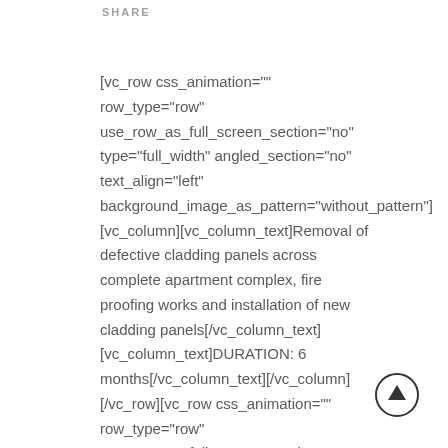SHARE
[vc_row css_animation="" row_type="row" use_row_as_full_screen_section="no" type="full_width" angled_section="no" text_align="left" background_image_as_pattern="without_pattern"][vc_column][vc_column_text]Removal of defective cladding panels across complete apartment complex, fire proofing works and installation of new cladding panels[/vc_column_text][vc_column_text]DURATION: 6 months[/vc_column_text][/vc_column][/vc_row][vc_row css_animation="" row_type="row" use_row_as_full_screen_section="no"...